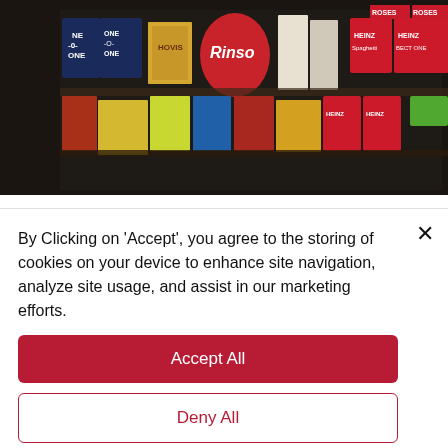[Figure (photo): Photo of vintage grocery store shelves showing retro branded packaging products including Rinso, Heinz, and various other mid-century branded goods displayed in a museum exhibit setting]
We popped in to visit The Museum of Brands, Packaging & Advertising's and it made us consider just how much midcentury design has influenced current trends in Illustration and Design… The 1950's and 60's saw an explosion of colour and freedom that still excites today. We suggest you take a look at the work of American
By Clicking on 'Accept', you agree to the storing of cookies on your device to enhance site navigation, analyze site usage, and assist in our marketing efforts.
Accept All
Deny All
Cookie Settings